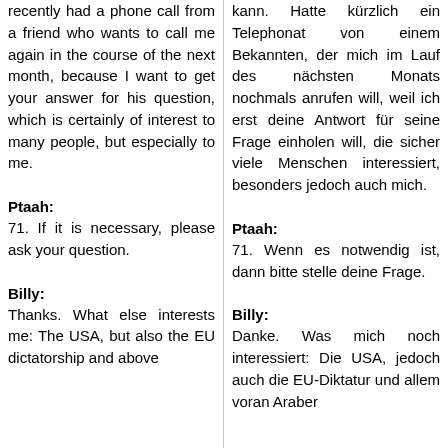recently had a phone call from a friend who wants to call me again in the course of the next month, because I want to get your answer for his question, which is certainly of interest to many people, but especially to me.
kann. Hatte kürzlich ein Telephonat von einem Bekannten, der mich im Lauf des nächsten Monats nochmals anrufen will, weil ich erst deine Antwort für seine Frage einholen will, die sicher viele Menschen interessiert, besonders jedoch auch mich.
Ptaah:
71. If it is necessary, please ask your question.
Ptaah:
71. Wenn es notwendig ist, dann bitte stelle deine Frage.
Billy:
Thanks. What else interests me: The USA, but also the EU dictatorship and above
Billy:
Danke. Was mich noch interessiert: Die USA, jedoch auch die EU-Diktatur und allem voran Araber